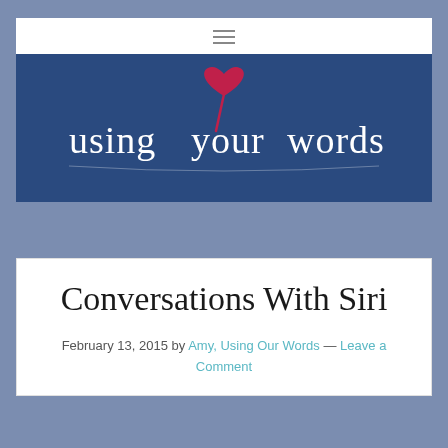[Figure (logo): Using Your Words blog logo — dark blue banner with white serif/script text reading 'using your words' and a decorative red heart/pen illustration above the letter 'y']
Conversations With Siri
February 13, 2015 by Amy, Using Our Words — Leave a Comment